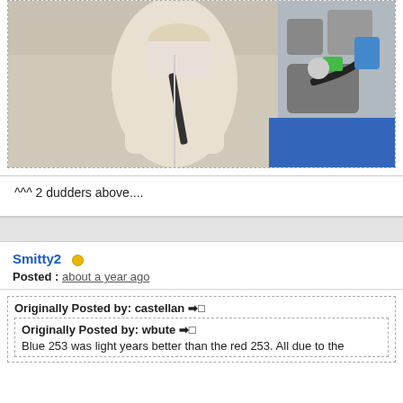[Figure (photo): Photo of a person in white clothing leaning over a car engine bay, blue car hood visible]
^^^ 2 dudders above....
Smitty2 [online indicator]
Posted : about a year ago
Originally Posted by: castellan →□
Originally Posted by: wbute →□
Blue 253 was light years better than the red 253. All due to the